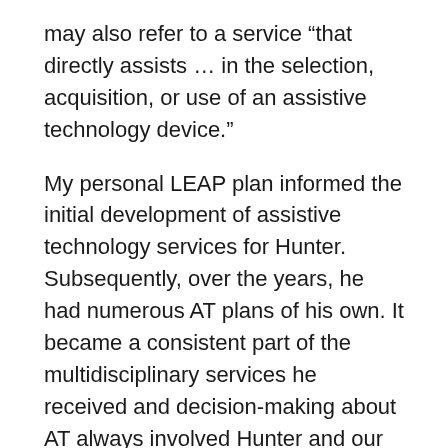may also refer to a service “that directly assists … in the selection, acquisition, or use of an assistive technology device.”
My personal LEAP plan informed the initial development of assistive technology services for Hunter. Subsequently, over the years, he had numerous AT plans of his own. It became a consistent part of the multidisciplinary services he received and decision-making about AT always involved Hunter and our family. Important considerations included timelines, trials, training, and technical assistance that kept in mind age appropriateness, upcoming transitions, and his environment. His use of AT became most effective when he could access it at his own discretion, when and where he needed it. The more he used the